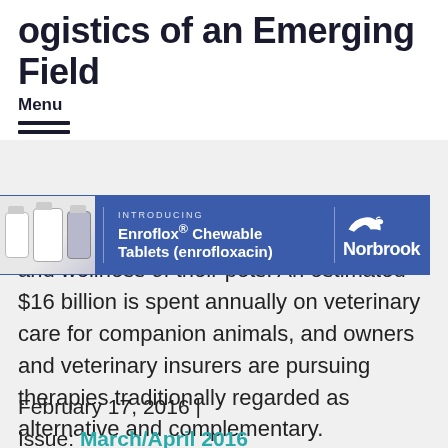ogistics of an Emerging Field
Menu
[Figure (illustration): Advertisement banner: INTRODUCING Enroflox Chewable Tablets (enrofloxacin) - Norbrook logo with dog silhouette]
ngly he health and wellness of their pets. An estimated $16 billion is spent annually on veterinary care for companion animals, and owners and veterinary insurers are pursuing therapies traditionally regarded as alternative and complementary.
February 17, 2016 |
Issue: March/April 2016
[Figure (other): Social sharing buttons: Facebook, Twitter, LinkedIn, and share icons]